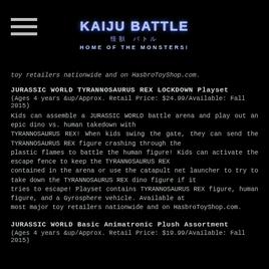Kaiju Battle 怪獣 バトル HOME OF THE MONSTERS!
toy retailers nationwide and on HasbroToyShop.com.
JURASSIC WORLD TYRANNOSAURUS REX LOCKDOWN Playset
(Ages 4 years & up/Approx. Retail Price: $24.99/Available: Fall 2015)
Kids can assemble a JURASSIC WORLD battle arena and play out an epic dino vs. human takedown with TYRANNOSAURUS REX! When kids swing the gate, they can send the TYRANNOSAURUS REX figure crashing through the plastic flames to battle the human figure! Kids can activate the escape fence to keep the TYRANNOSAURUS REX contained in the arena or use the catapult net launcher to try to take down the TYRANNOSAURUS REX dino figure if it tries to escape! Playset contains TYRANNOSAURUS REX figure, human figure, and a Gyrosphere vehicle. Available at most major toy retailers nationwide and on HasbroToyShop.com.
JURASSIC WORLD Basic Animatronic Plush Assortment
(Ages 4 years & up/Approx. Retail Price: $19.99/Available: Fall 2015)